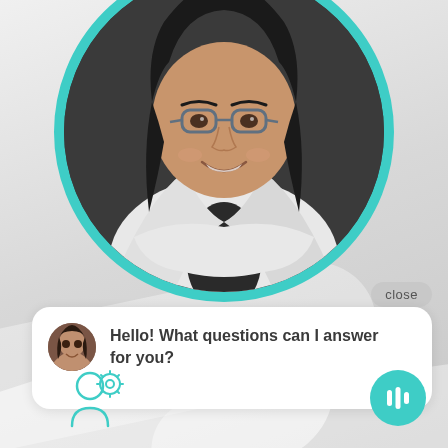[Figure (photo): Professional woman with glasses and crossed arms smiling, shown in a circular teal-bordered frame, against a dark background. She wears a white blazer over a black top.]
close
Hello! What questions can I answer for you?
[Figure (illustration): Small circular avatar of a woman with dark hair smiling, used as chat messenger icon]
[Figure (illustration): Teal circular button with white pause/microphone bars icon at bottom right]
[Figure (illustration): Teal outline icon of a person with a gear/settings symbol at bottom left]